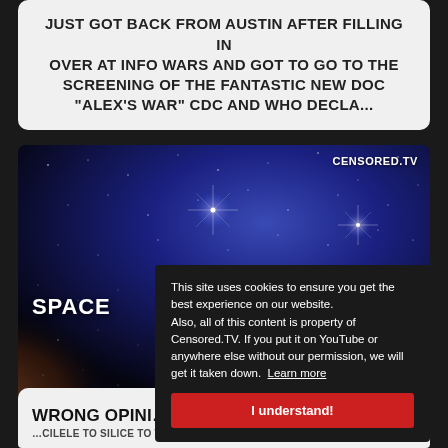JUST GOT BACK FROM AUSTIN AFTER FILLING IN OVER AT INFO WARS AND GOT TO GO TO THE SCREENING OF THE FANTASTIC NEW DOC "ALEX'S WAR" CDC AND WHO DECLA...
[Figure (screenshot): Space nebula image with star field, showing cosmic gas clouds in deep blue and orange/brown tones, with CENSORED.TV watermark in top right and partial text SPACE at bottom left]
This site uses cookies to ensure you get the best experience on our website. Also, all of this content is property of Censored.TV. If you put it on YouTube or anywhere else without our permission, we will get it taken down. Learn more
I understand!
WRONG OPINI...